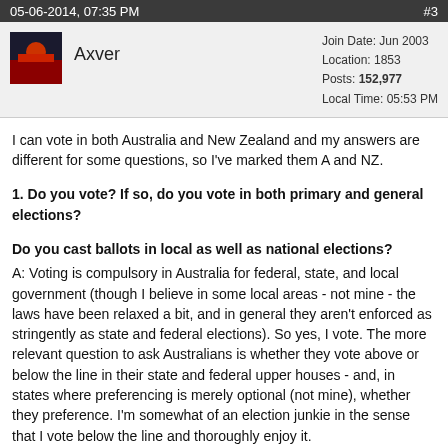05-06-2014, 07:35 PM    #3
Axver
Join Date: Jun 2003
Location: 1853
Posts: 152,977
Local Time: 05:53 PM
I can vote in both Australia and New Zealand and my answers are different for some questions, so I've marked them A and NZ.
1. Do you vote? If so, do you vote in both primary and general elections?
Do you cast ballots in local as well as national elections?
A: Voting is compulsory in Australia for federal, state, and local government (though I believe in some local areas - not mine - the laws have been relaxed a bit, and in general they aren't enforced as stringently as state and federal elections). So yes, I vote. The more relevant question to ask Australians is whether they vote above or below the line in their state and federal upper houses - and, in states where preferencing is merely optional (not mine), whether they preference. I'm somewhat of an election junkie in the sense that I vote below the line and thoroughly enjoy it.